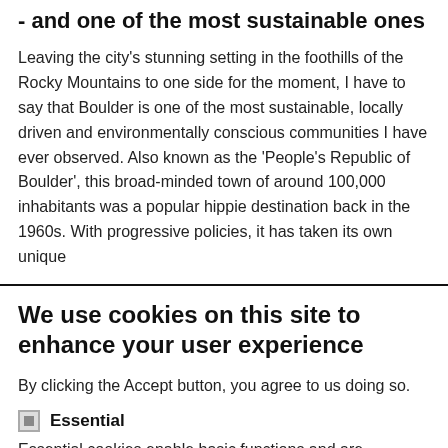- and one of the most sustainable ones
Leaving the city’s stunning setting in the foothills of the Rocky Mountains to one side for the moment, I have to say that Boulder is one of the most sustainable, locally driven and environmentally conscious communities I have ever observed. Also known as the ‘People’s Republic of Boulder’, this broad-minded town of around 100,000 inhabitants was a popular hippie destination back in the 1960s. With progressive policies, it has taken its own unique
We use cookies on this site to enhance your user experience
By clicking the Accept button, you agree to us doing so.
Essential
Essential cookies enable basic functions and are necessary for the proper function of the website.